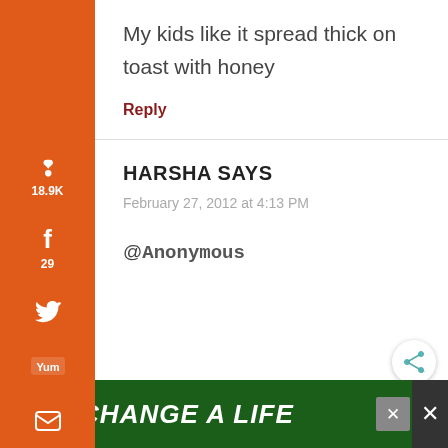My kids like it spread thick on toast with honey
Reply
HARSHA SAYS
February 27, 2012 at 4:13 PM
@Anonymous
[Figure (infographic): Social sharing sidebar with Pinterest (18.9K), Facebook (29), Twitter, Yummly, Email, Print icons on orange background. Total: 19.0K SHARES at bottom.]
[Figure (infographic): Green advertisement banner at bottom: dog photo on left, text CHANGE A LIFE in white italic bold, close button and X button on right.]